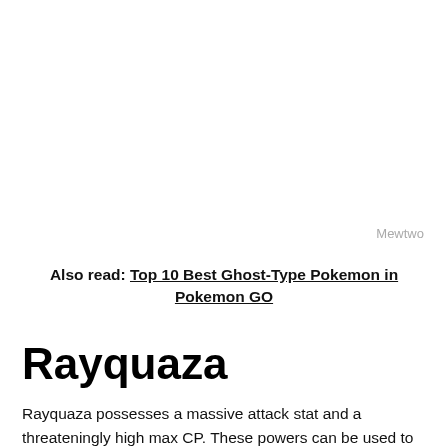Mewtwo
Also read: Top 10 Best Ghost-Type Pokemon in Pokemon GO
Rayquaza
Rayquaza possesses a massive attack stat and a threateningly high max CP. These powers can be used to